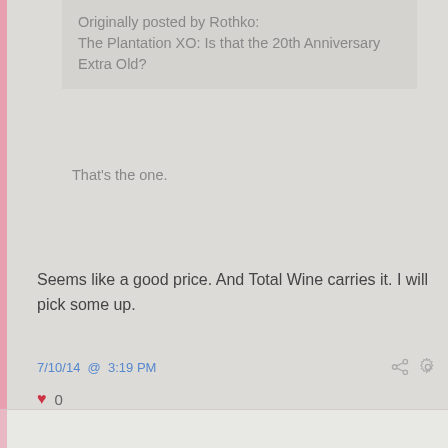Originally posted by Rothko:
The Plantation XO: Is that the 20th Anniversary Extra Old?
That's the one.
Seems like a good price. And Total Wine carries it. I will pick some up.
7/10/14 @ 3:19 PM
0